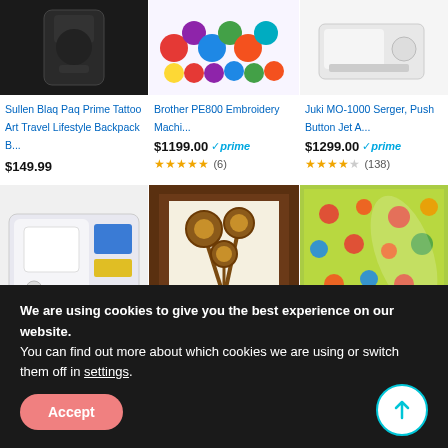[Figure (screenshot): Product listing grid from Amazon-style shopping website showing 6 products in 2 rows of 3 columns]
Sullen Blaq Paq Prime Tattoo Art Travel Lifestyle Backpack B...
$149.99
Brother PE800 Embroidery Machi...
$1199.00 ✓prime (6)
Juki MO-1000 Serger, Push Button Jet A...
$1299.00 ✓prime (138)
Juki HZL-DX7 Sewing
DLY LIFESTYLE Large
AmeriFLEX Super
We are using cookies to give you the best experience on our website.
You can find out more about which cookies we are using or switch them off in settings.
Accept